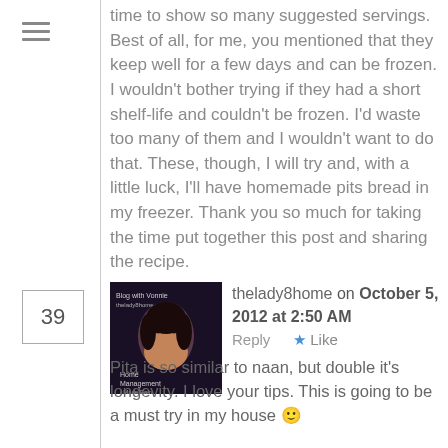time to show so many suggested servings. Best of all, for me, you mentioned that they keep well for a few days and can be frozen. I wouldn't bother trying if they had a short shelf-life and couldn't be frozen. I'd waste too many of them and I wouldn't want to do that. These, though, I will try and, with a little luck, I'll have homemade pits bread in my freezer. Thank you so much for taking the time put together this post and sharing the recipe.
thelady8home on October 5, 2012 at 2:50 AM   Reply  ★ Like
Pita is so similar to naan, but double it's longevity. I love your tips. This is going to be a must try in my house 🙂